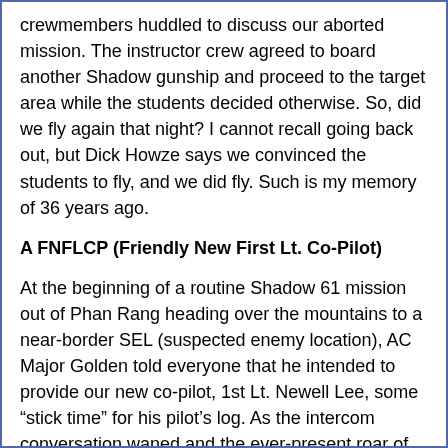crewmembers huddled to discuss our aborted mission. The instructor crew agreed to board another Shadow gunship and proceed to the target area while the students decided otherwise. So, did we fly again that night? I cannot recall going back out, but Dick Howze says we convinced the students to fly, and we did fly. Such is my memory of 36 years ago.
A FNFLCP (Friendly New First Lt. Co-Pilot)
At the beginning of a routine Shadow 61 mission out of Phan Rang heading over the mountains to a near-border SEL (suspected enemy location), AC Major Golden told everyone that he intended to provide our new co-pilot, 1st Lt. Newell Lee, some “stick time” for his pilot’s log. As the intercom conversation waned and the ever-present roar of the two R-3350s, just a few feet away from me, became too melodic on the flight to the target area, “Goldie” as we called the Major, quite deliberately asked Lieutenant Lee if he would “take control of 61 for a while.” Normally, a two-second transition, Goldie deliberately slowed the